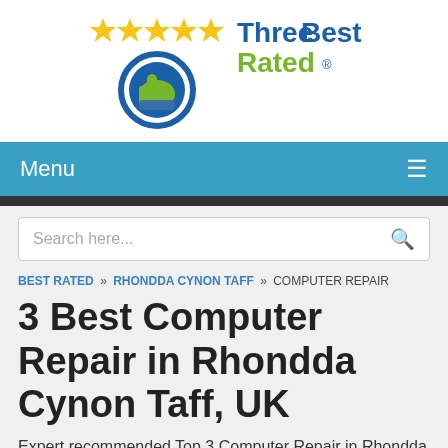[Figure (logo): ThreeBestRated logo with five gold stars, green thumbs-up icon in a blue circular badge, and 'ThreeBest Rated' text in blue and green]
Menu ≡
Search here...
BEST RATED » RHONDDA CYNON TAFF » COMPUTER REPAIR
3 Best Computer Repair in Rhondda Cynon Taff, UK
Expert recommended Top 3 Computer Repair in Rhondda Cynon Taff, UK. All of our computer repair actually face a rigorous 50-Point Inspection, which includes local reviews, history, business standards, ratings, satisfaction, trust, price and their trading